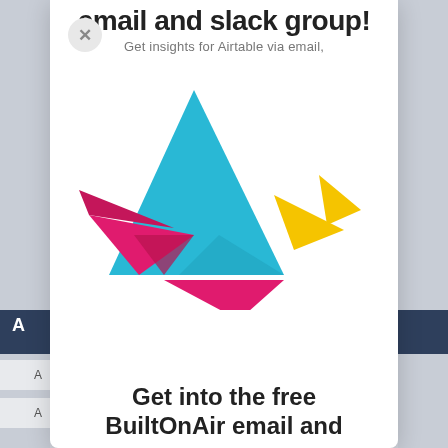email and slack group!
Get insights for Airtable via email,
[Figure (logo): BuiltOnAir logo — a geometric origami bird made of colorful tangram-style polygons: cyan/teal triangle (body), magenta/hot-pink triangles (wing and tail), yellow/gold triangles (head and beak)]
Get into the free BuiltOnAir email and